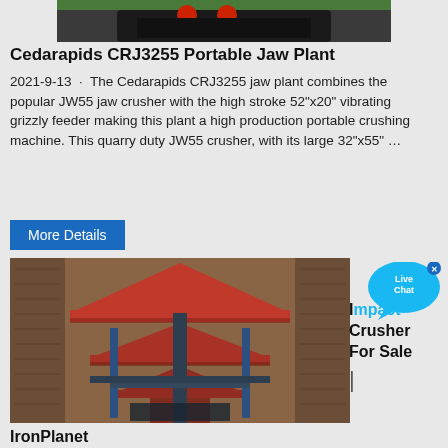[Figure (photo): Partial view of a Cedarapids CRJ3255 portable jaw plant machine, showing the top dark metal crusher unit]
Cedarapids CRJ3255 Portable Jaw Plant
2021-9-13 · The Cedarapids CRJ3255 jaw plant combines the popular JW55 jaw crusher with the high stroke 52"x20" vibrating grizzly feeder making this plant a high production portable crushing machine. This quarry duty JW55 crusher, with its large 32"x55" …
[Figure (photo): Aerial/top-down view of an IronPlanet crusher machine with red roof-like metal structure and blue support framework, surrounded by brown earth walls]
IronPlanet
2021-9-10 · Buy used Crushers from , Universal, Amcast, Canica, Cedarapids, Crush Boss and more. Buy with confidence with our IronClad Assurance®.